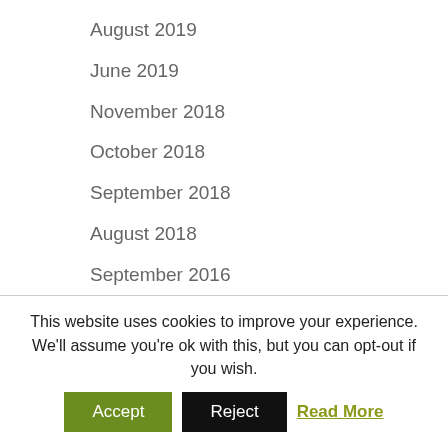August 2019
June 2019
November 2018
October 2018
September 2018
August 2018
September 2016
May 2016
April 2016
August 2015
May 2015
This website uses cookies to improve your experience. We'll assume you're ok with this, but you can opt-out if you wish.
Accept | Reject | Read More